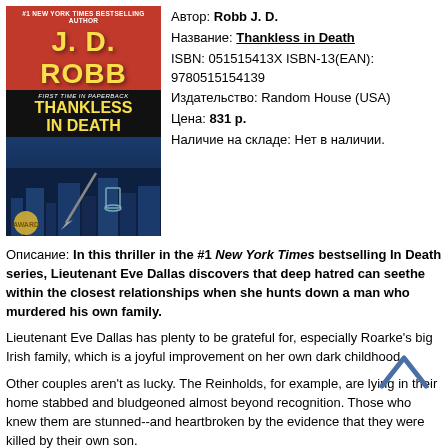[Figure (illustration): Book cover of 'Thankless in Death' by J.D. Robb. Orange and black cover with yellow text showing author name J.D. ROBB in large letters and title THANKLESS IN DEATH below, with dark cityscape imagery.]
Автор: Robb J. D.
Название: Thankless in Death
ISBN: 051515413X ISBN-13(EAN): 9780515154139
Издательство: Random House (USA)
Цена: 831 р.
Наличие на складе: Нет в наличии.
Описание: In this thriller in the #1 New York Times bestselling In Death series, Lieutenant Eve Dallas discovers that deep hatred can seethe within the closest relationships when she hunts down a man who murdered his own family.
Lieutenant Eve Dallas has plenty to be grateful for, especially Roarke's big Irish family, which is a joyful improvement on her own dark childhood.
Other couples aren't as lucky. The Reinholds, for example, are lying in their home stabbed and bludgeoned almost beyond recognition. Those who knew them are stunned--and heartbroken by the evidence that they were killed by their own son.
Turns out that twenty-six-year-old Jerry is not